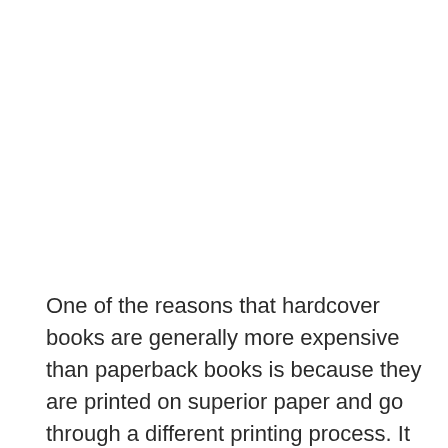One of the reasons that hardcover books are generally more expensive than paperback books is because they are printed on superior paper and go through a different printing process. It is more difficult to bend, damage, or break a hardback because of the thicker, more robust materials that are used to construct them. What exactly is it?